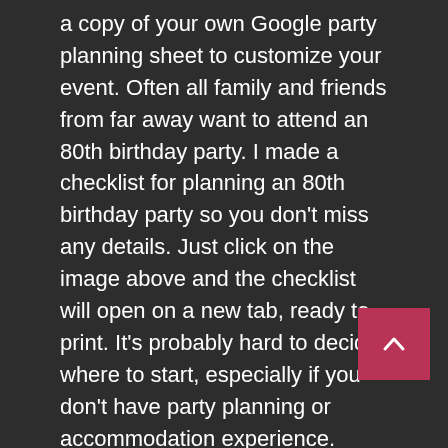a copy of your own Google party planning sheet to customize your event. Often all family and friends from far away want to attend an 80th birthday party. I made a checklist for planning an 80th birthday party so you don't miss any details. Just click on the image above and the checklist will open on a new tab, ready to print. It's probably hard to decide where to start, especially if you don't have party planning or accommodation experience. Share the template with whoever you want via Google Drive.
Staying at home can save you a lot of money, but hiring a place can also make your life easier and ease the pressure. Our free place finder on Tagvenue.com